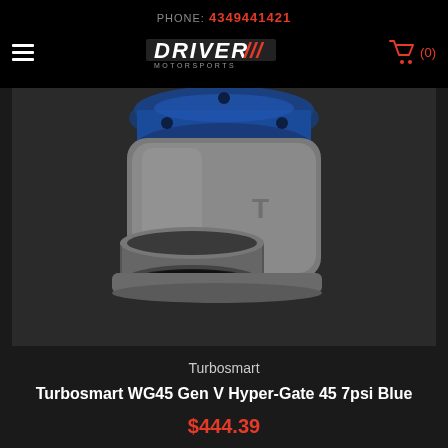PHONE: 4349441421
[Figure (logo): Driver Motorsports logo with stylized italic DRIVER text and MOTORSPORTS stripe below]
[Figure (photo): Close-up photo of a Turbosmart WG45 Gen V Hyper-Gate 45 wastegate with blue anodized top cap and silver/nickel cast iron body with inlet port]
Turbosmart
Turbosmart WG45 Gen V Hyper-Gate 45 7psi Blue
$444.39